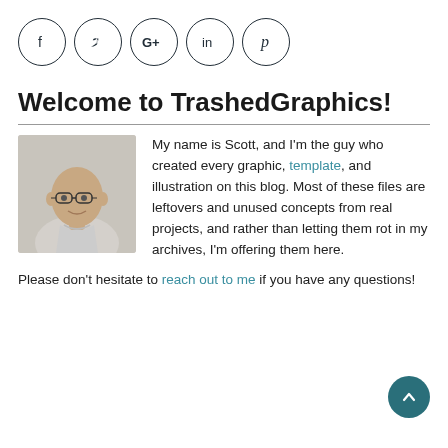[Figure (infographic): Row of five circular social media icon buttons: Facebook (f), Twitter (bird), Google+ (G+), LinkedIn (in), Pinterest (p)]
Welcome to TrashedGraphics!
[Figure (photo): Headshot photo of a bald man with glasses wearing a light grey shirt, smiling slightly, photographed from chest up against a white background.]
My name is Scott, and I'm the guy who created every graphic, template, and illustration on this blog. Most of these files are leftovers and unused concepts from real projects, and rather than letting them rot in my archives, I'm offering them here.
Please don't hesitate to reach out to me if you have any questions!